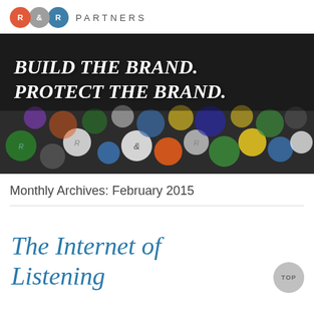[Figure (logo): R&R Partners logo with three overlapping circles (red R, grey &, blue R) and 'PARTNERS' text]
[Figure (photo): Hero banner photo showing colorful circular buttons/pins on a dark background with italic white text 'BUILD THE BRAND. PROTECT THE BRAND.']
Monthly Archives: February 2015
The Internet of Listening